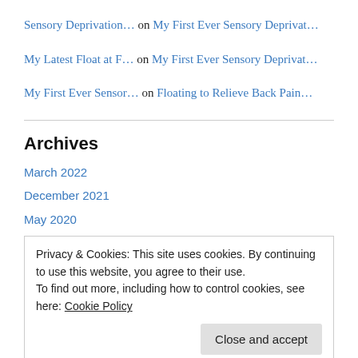Sensory Deprivation… on My First Ever Sensory Deprivat…
My Latest Float at F… on My First Ever Sensory Deprivat…
My First Ever Sensor… on Floating to Relieve Back Pain…
Archives
March 2022
December 2021
May 2020
Privacy & Cookies: This site uses cookies. By continuing to use this website, you agree to their use.
To find out more, including how to control cookies, see here: Cookie Policy
Close and accept
May 2019